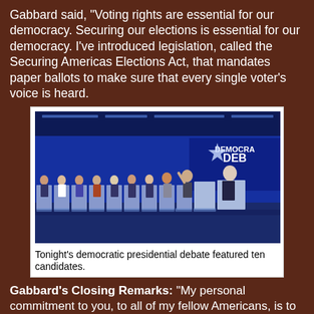Gabbard said, "Voting rights are essential for our democracy. Securing our elections is essential for our democracy. I've introduced legislation, called the Securing Americas Elections Act, that mandates paper ballots to make sure that every single voter's voice is heard.
[Figure (photo): Photograph of Tonight's democratic presidential debate stage featuring ten candidates standing at podiums with blue lighting and 'Democratic Debate' signage visible in the background.]
Tonight's democratic presidential debate featured ten candidates.
Gabbard's Closing Remarks: "My personal commitment to you, to all of my fellow Americans, is to treat you with respect and compassion, something that we in Hawai'i called aloha. Every single person deserves to be treated with respect, regardless of race, religion, or gender, or even your politics. Inclusion, unity, respect, aloha, these will be the operating principles for my administration.
"Dr. Martin Luther King visited Hawai'i first back in 1959, where he expressed his appreciation for what we call the